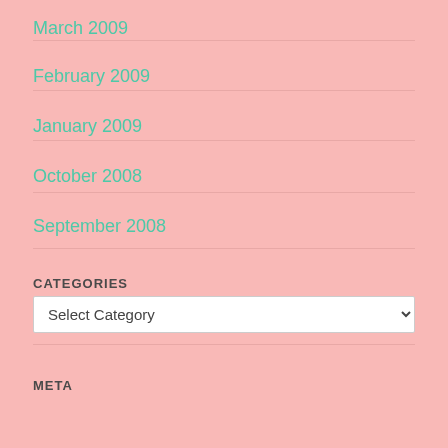March 2009
February 2009
January 2009
October 2008
September 2008
CATEGORIES
Select Category
META